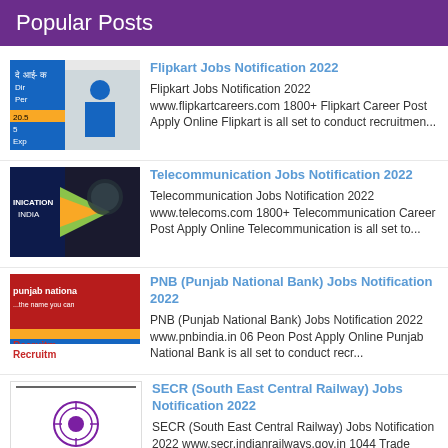Popular Posts
Flipkart Jobs Notification 2022 - Flipkart Jobs Notification 2022 www.flipkartcareers.com 1800+ Flipkart Career Post Apply Online Flipkart is all set to conduct recruitmen...
Telecommunication Jobs Notification 2022 - Telecommunication Jobs Notification 2022 www.telecoms.com 1800+ Telecommunication Career Post Apply Online Telecommunication is all set to...
PNB (Punjab National Bank) Jobs Notification 2022 - PNB (Punjab National Bank) Jobs Notification 2022 www.pnbindia.in 06 Peon Post Apply Online Punjab National Bank is all set to conduct recr...
SECR (South East Central Railway) Jobs Notification 2022 - SECR (South East Central Railway) Jobs Notification 2022 www.secr.indianrailways.gov.in 1044 Trade Apprentices Post Apply Online South East...